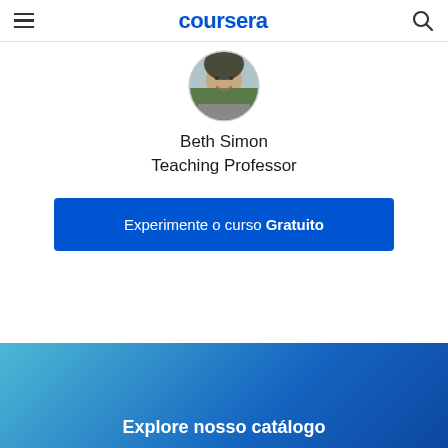coursera
[Figure (photo): Circular profile photo of instructor Beth Simon]
Beth Simon
Teaching Professor
Experimente o curso Gratuito
Explore nosso catálogo